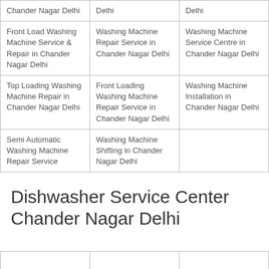| Chander Nagar Delhi | Delhi | Delhi |
| Front Load Washing Machine Service & Repair in Chander Nagar Delhi | Washing Machine Repair Service in Chander Nagar Delhi | Washing Machine Service Centre in Chander Nagar Delhi |
| Top Loading Washing Machine Repair in Chander Nagar Delhi | Front Loading Washing Machine Repair Service in Chander Nagar Delhi | Washing Machine Installation in Chander Nagar Delhi |
| Semi Automatic Washing Machine Repair Service | Washing Machine Shifting in Chander Nagar Delhi |  |
Dishwasher Service Center Chander Nagar Delhi
|  |  |  |